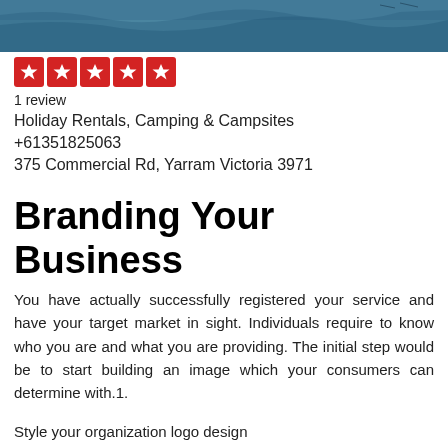[Figure (photo): Top portion of a photo showing blue water or ocean scene]
[Figure (infographic): Five red star rating boxes (5-star rating display)]
1 review
Holiday Rentals, Camping & Campsites
+61351825063
375 Commercial Rd, Yarram Victoria 3971
Branding Your Business
You have actually successfully registered your service and have your target market in sight. Individuals require to know who you are and what you are providing. The initial step would be to start building an image which your consumers can determine with.1.
Style your organization logo design